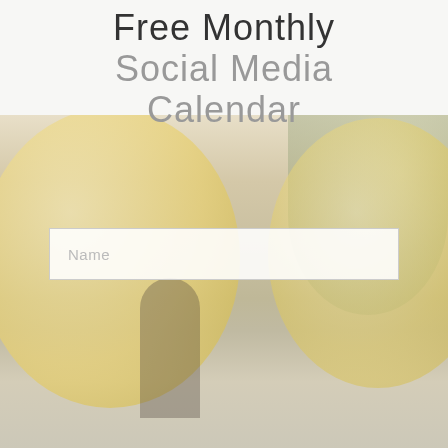Free Monthly Social Media Calendar
[Figure (photo): Background photo of a person standing outdoors holding or near large yellow balloon(s), with trees and pavement visible. Image is faded/washed out with a light warm overlay.]
Name